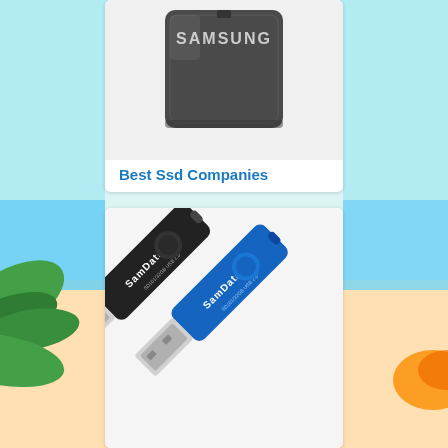[Figure (photo): Samsung T1 portable SSD drive, dark gray color, shown at angle]
Best Ssd Companies
[Figure (photo): Two SamData USB 2.0 flash drives, one black and one blue, with swivel caps and USB connectors exposed]